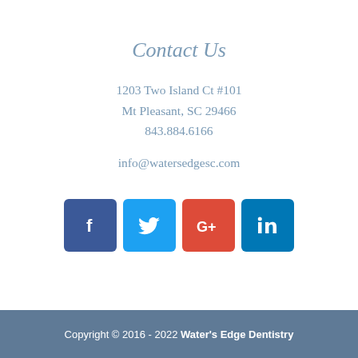Contact Us
1203 Two Island Ct #101
Mt Pleasant, SC 29466
843.884.6166
info@watersedgesc.com
[Figure (infographic): Four social media icon buttons: Facebook (dark blue), Twitter (light blue), Google+ (red), LinkedIn (blue)]
Copyright © 2016 - 2022 Water's Edge Dentistry